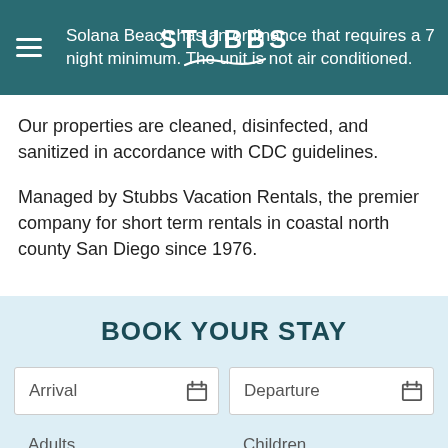Solana Beach has an ordinance that requires a 7 night minimum. The unit is not air conditioned.
Our properties are cleaned, disinfected, and sanitized in accordance with CDC guidelines.
Managed by Stubbs Vacation Rentals, the premier company for short term rentals in coastal north county San Diego since 1976.
BOOK YOUR STAY
Arrival | Departure
Adults | Children